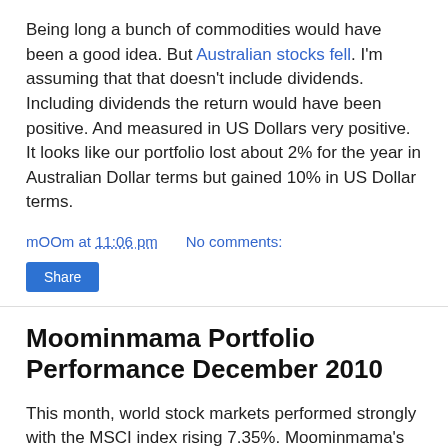Being long a bunch of commodities would have been a good idea. But Australian stocks fell. I'm assuming that that doesn't include dividends. Including dividends the return would have been positive. And measured in US Dollars very positive. It looks like our portfolio lost about 2% for the year in Australian Dollar terms but gained 10% in US Dollar terms.
mOOm at 11:06 pm   No comments:
Share
Moominmama Portfolio Performance December 2010
This month, world stock markets performed strongly with the MSCI index rising 7.35%. Moominmama's portfolio only gained 2.81%: